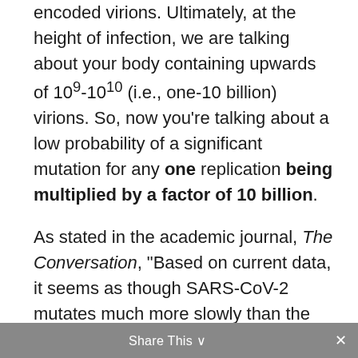encoded virions. Ultimately, at the height of infection, we are talking about your body containing upwards of 109-1010 (i.e., one-10 billion) virions. So, now you're talking about a low probability of a significant mutation for any one replication being multiplied by a factor of 10 billion.
As stated in the academic journal, The Conversation, "Based on current data, it seems as though SARS-CoV-2 mutates much more slowly than the seasonal flu.12 Specifically, SARS-CoV-2 seems to have a mutation rate of less than 25 mutations per year, whereas the seasonal flu has a mutation rate of almost 50 mutations per
Share This ✕